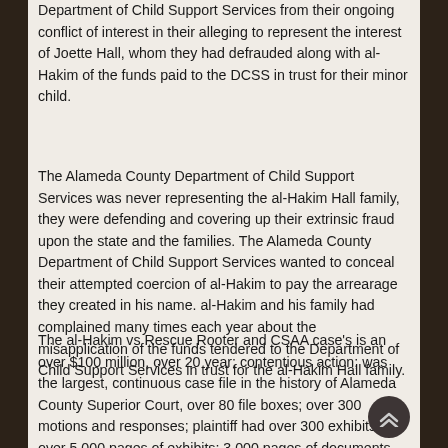Department of Child Support Services from their ongoing conflict of interest in their alleging to represent the interest of Joette Hall, whom they had defrauded along with al-Hakim of the funds paid to the DCSS in trust for their minor child.
The Alameda County Department of Child Support Services was never representing the al-Hakim Hall family, they were defending and covering up their extrinsic fraud upon the state and the families. The Alameda County Department of Child Support Services wanted to conceal their attempted coercion of al-Hakim to pay the arrearage they created in his name. al-Hakim and his family had complained many times each year about the misapplication of the funds tendered to the Department of Child Support Services in trust for the al-Hakim Hall family.
The al-Hakim vs Rescue Rooter and CSAA case's is an over $100 million, over 20 year; contentious action; was the largest, continuous case file in the history of Alameda County Superior Court, over 80 file boxes; over 300 motions and responses; plaintiff had over 300 exhibits; over 5,000 pages of exhibits; 3,000 pages of documents for rebuttal argument; 20 expert witnesses; 77 other witnesses; over 100 pages of jury instructions; with 17 Judges being Disqualified, volumes of convicting proof of over 40 more judicial misconduct cases, where EVERY judge in this case has admitted error, committed